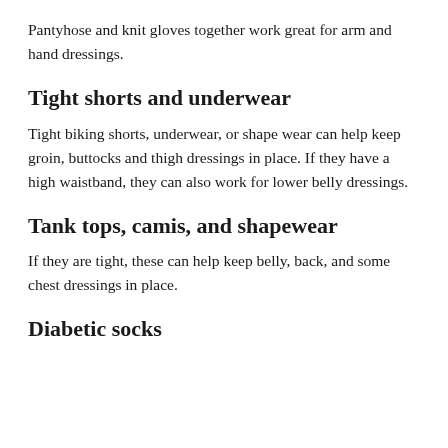Pantyhose and knit gloves together work great for arm and hand dressings.
Tight shorts and underwear
Tight biking shorts, underwear, or shape wear can help keep groin, buttocks and thigh dressings in place. If they have a high waistband, they can also work for lower belly dressings.
Tank tops, camis, and shapewear
If they are tight, these can help keep belly, back, and some chest dressings in place.
Diabetic socks